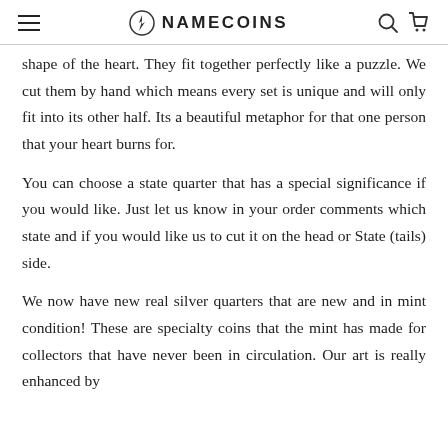NAMECOINS
shape of the heart. They fit together perfectly like a puzzle. We cut them by hand which means every set is unique and will only fit into its other half. Its a beautiful metaphor for that one person that your heart burns for.
You can choose a state quarter that has a special significance if you would like. Just let us know in your order comments which state and if you would like us to cut it on the head or State (tails) side.
We now have new real silver quarters that are new and in mint condition! These are specialty coins that the mint has made for collectors that have never been in circulation. Our art is really enhanced by